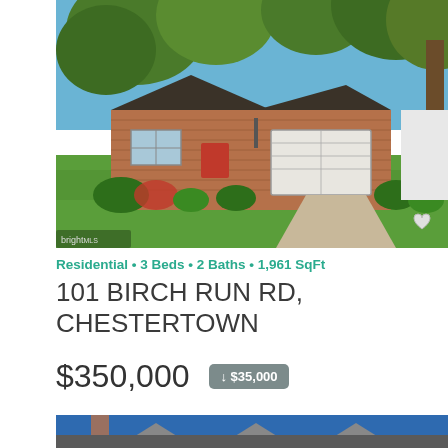[Figure (photo): Exterior photo of a single-story brick ranch house with red door, white garage, green lawn, mature trees, and landscaping on a sunny day. BrightMLS watermark in bottom-left. Heart/favorite icon in bottom-right.]
Residential • 3 Beds • 2 Baths • 1,961 SqFt
101 BIRCH RUN RD, CHESTERTOWN
$350,000 ↓ $35,000
[Figure (photo): Partial exterior photo of another listing showing a blue-sided house with white dormer windows and a chimney.]